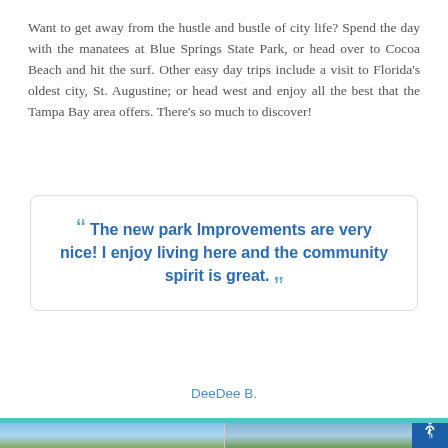Want to get away from the hustle and bustle of city life? Spend the day with the manatees at Blue Springs State Park, or head over to Cocoa Beach and hit the surf. Other easy day trips include a visit to Florida's oldest city, St. Augustine; or head west and enjoy all the best that the Tampa Bay area offers. There's so much to discover!
"The new park Improvements are very nice! I enjoy living here and the community spirit is great."
DeeDee B.
[Figure (photo): Two outdoor nature/park photos side by side showing trees and sky, partially visible at bottom of page]